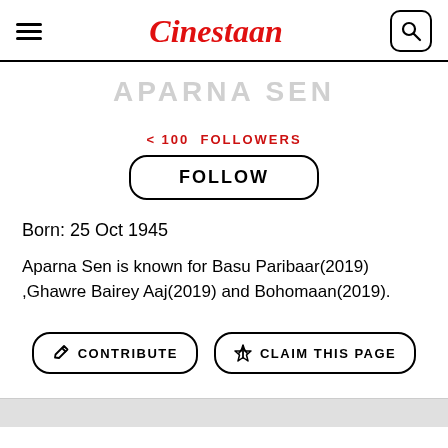Cinestaan
APARNA SEN
< 100  FOLLOWERS
FOLLOW
Born: 25 Oct 1945
Aparna Sen is known for Basu Paribaar(2019) ,Ghawre Bairey Aaj(2019) and Bohomaan(2019).
CONTRIBUTE
CLAIM THIS PAGE